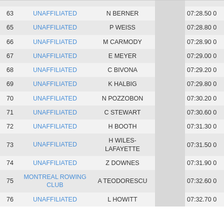| # | Club | Name |  | Time |
| --- | --- | --- | --- | --- |
| 63 | UNAFFILIATED | N BERNER |  | 07:28.50 0 |
| 65 | UNAFFILIATED | P WEISS |  | 07:28.80 0 |
| 66 | UNAFFILIATED | M CARMODY |  | 07:28.90 0 |
| 67 | UNAFFILIATED | E MEYER |  | 07:29.00 0 |
| 68 | UNAFFILIATED | C BIVONA |  | 07:29.20 0 |
| 69 | UNAFFILIATED | K HALBIG |  | 07:29.80 0 |
| 70 | UNAFFILIATED | N POZZOBON |  | 07:30.20 0 |
| 71 | UNAFFILIATED | C STEWART |  | 07:30.60 0 |
| 72 | UNAFFILIATED | H BOOTH |  | 07:31.30 0 |
| 73 | UNAFFILIATED | H WILES-LAFAYETTE |  | 07:31.50 0 |
| 74 | UNAFFILIATED | Z DOWNES |  | 07:31.90 0 |
| 75 | MONTREAL ROWING CLUB | A TEODORESCU |  | 07:32.60 0 |
| 76 | UNAFFILIATED | L HOWITT |  | 07:32.70 0 |